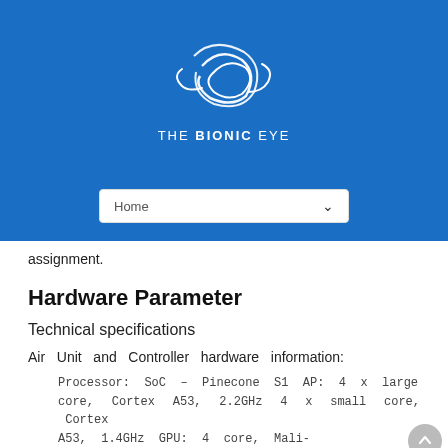[Figure (logo): The Bionic Eye logo: white swirl/spiral graphic above text reading THE BIONIC EYE on a blue background]
[Figure (screenshot): Navigation dropdown showing 'Home' with a chevron arrow on blue background]
assignment.
Hardware Parameter
Technical specifications
Air Unit and Controller hardware information:
Processor: SoC – Pinecone S1 AP: 4 x large core, Cortex A53, 2.2GHz 4 x small core, Cortex A53, 1.4GHz GPU: 4 core, Mali-